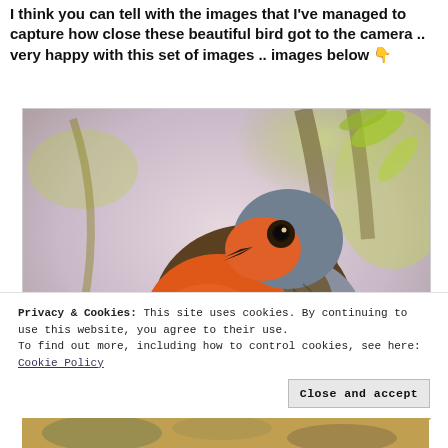I think you can tell with the images that I've managed to capture how close these beautiful bird got to the camera .. very happy with this set of images .. images below 👇
[Figure (photo): Close-up photograph of a robin bird with bright orange-red breast and grey/brown wings, perched among green foliage with blurred background]
Privacy & Cookies: This site uses cookies. By continuing to use this website, you agree to their use.
To find out more, including how to control cookies, see here: Cookie Policy
Close and accept
[Figure (photo): Partial view of another bird photo at bottom of page]